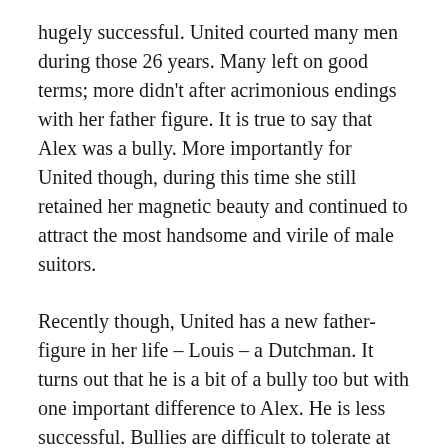hugely successful.  United courted many men during those 26 years.  Many left on good terms; more didn't after acrimonious endings with her father figure.  It is true to say that Alex was a bully.  More importantly for United though, during this time she still retained her magnetic beauty and continued to attract the most handsome and virile of male suitors.
Recently though, United has a new father-figure in her life – Louis – a Dutchman.  It turns out that he is a bit of a bully too but with one important difference to Alex.  He is less successful.  Bullies are difficult to tolerate at the best of times but successful bullies are a lot more tolerable than unsuccessful ones.  This is not to say that Louis has not been successful.  It's just that he and United